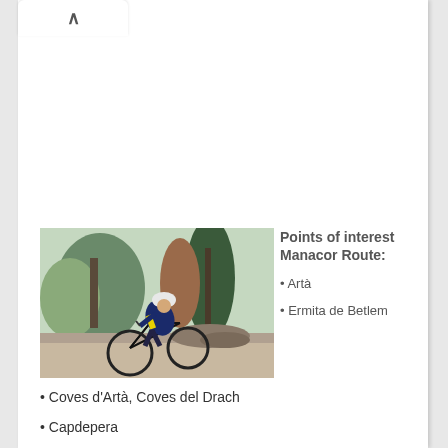[Figure (photo): A cyclist wearing a white helmet and yellow-navy cycling kit riding a road bicycle on a path, with trees in the background.]
Points of interest Manacor Route:
• Artà
• Ermita de Betlem
• Coves d'Artà, Coves del Drach
• Capdepera
• Far de Capdpera